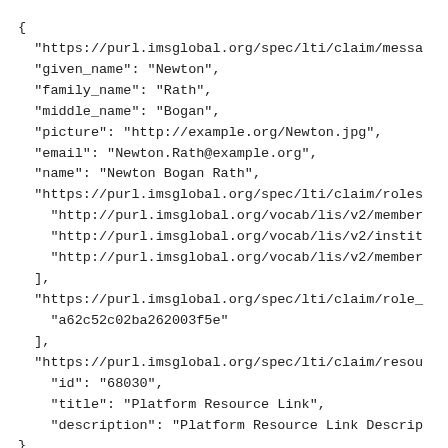{
  "https://purl.imsglobal.org/spec/lti/claim/messa
  "given_name": "Newton",
  "family_name": "Rath",
  "middle_name": "Bogan",
  "picture": "http://example.org/Newton.jpg",
  "email": "Newton.Rath@example.org",
  "name": "Newton Bogan Rath",
  "https://purl.imsglobal.org/spec/lti/claim/roles
    "http://purl.imsglobal.org/vocab/lis/v2/member
    "http://purl.imsglobal.org/vocab/lis/v2/instit
    "http://purl.imsglobal.org/vocab/lis/v2/member
  ],
  "https://purl.imsglobal.org/spec/lti/claim/role_
    "a62c52c02ba262003f5e"
  ],
  "https://purl.imsglobal.org/spec/lti/claim/resou
    "id": "68030",
    "title": "Platform Resource Link",
    "description": "Platform Resource Link Descrip
}